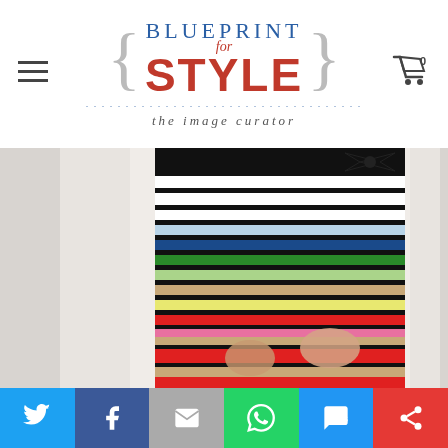[Figure (logo): Blueprint for Style logo with curly braces, blue and red text, tagline 'the image curator']
[Figure (photo): Woman wearing a colorful horizontal striped pencil skirt with black waistband and bow tie, stripes in multiple colors including white, light blue, blue, green, tan, yellow, red, pink]
[Figure (infographic): Social share bar with Twitter, Facebook, Email, WhatsApp, SMS, and share icons]